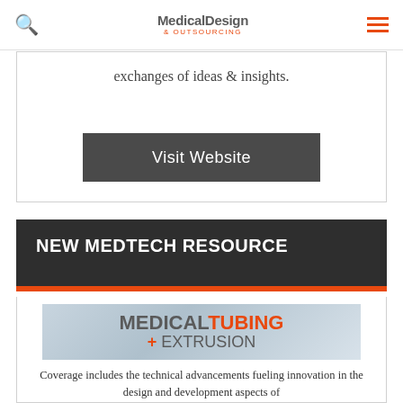Medical Design & Outsourcing
exchanges of ideas & insights.
Visit Website
NEW MEDTECH RESOURCE
[Figure (illustration): Medical Tubing + Extrusion promotional image with title text and background photo of medical tubing components]
Coverage includes the technical advancements fueling innovation in the design and development aspects of